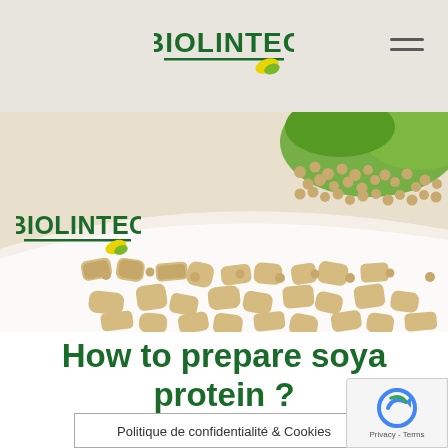BIOLINTEC
[Figure (photo): Hero image showing soya beans and textured soy protein pieces with green leaves on a white curved surface, with BIOLINTEC logo overlay on the left]
How to prepare soya protein ?
Politique de confidentialité & Cookies